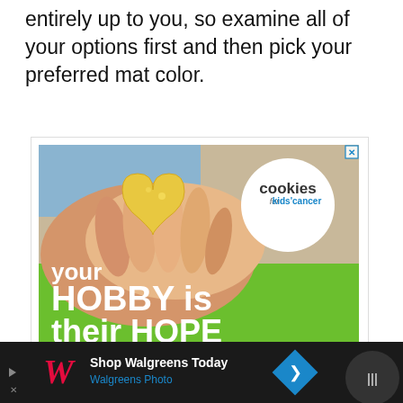entirely up to you, so examine all of your options first and then pick your preferred mat color.
[Figure (illustration): Advertisement for Cookies for Kids' Cancer showing hands holding a heart-shaped cookie with text 'your HOBBY is their HOPE - LEARN WHY' on a green background]
[Figure (illustration): Walgreens advertisement banner at bottom: 'Shop Walgreens Today - Walgreens Photo' with Walgreens logo, navigation arrow icon, and a dark circular icon on the right]